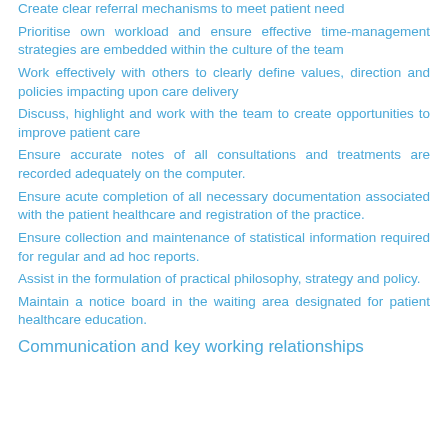Create clear referral mechanisms to meet patient need
Prioritise own workload and ensure effective time-management strategies are embedded within the culture of the team
Work effectively with others to clearly define values, direction and policies impacting upon care delivery
Discuss, highlight and work with the team to create opportunities to improve patient care
Ensure accurate notes of all consultations and treatments are recorded adequately on the computer.
Ensure acute completion of all necessary documentation associated with the patient healthcare and registration of the practice.
Ensure collection and maintenance of statistical information required for regular and ad hoc reports.
Assist in the formulation of practical philosophy, strategy and policy.
Maintain a notice board in the waiting area designated for patient healthcare education.
Communication and key working relationships